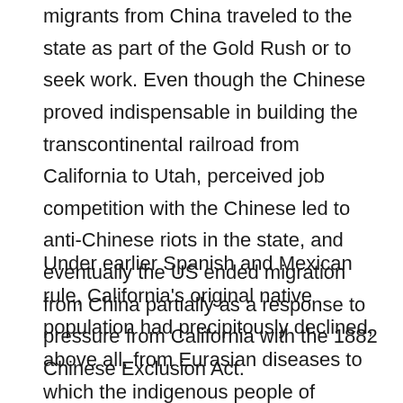migrants from China traveled to the state as part of the Gold Rush or to seek work. Even though the Chinese proved indispensable in building the transcontinental railroad from California to Utah, perceived job competition with the Chinese led to anti-Chinese riots in the state, and eventually the US ended migration from China partially as a response to pressure from California with the 1882 Chinese Exclusion Act.
Under earlier Spanish and Mexican rule, California's original native population had precipitously declined, above all, from Eurasian diseases to which the indigenous people of California had not yet developed a natural